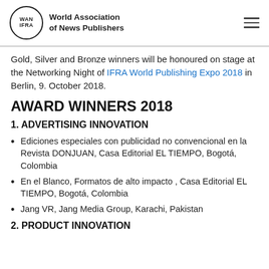World Association of News Publishers
Gold, Silver and Bronze winners will be honoured on stage at the Networking Night of IFRA World Publishing Expo 2018 in Berlin, 9. October 2018.
AWARD WINNERS 2018
1. ADVERTISING INNOVATION
Ediciones especiales con publicidad no convencional en la Revista DONJUAN, Casa Editorial EL TIEMPO, Bogotá, Colombia
En el Blanco, Formatos de alto impacto , Casa Editorial EL TIEMPO, Bogotá, Colombia
Jang VR, Jang Media Group, Karachi, Pakistan
2. PRODUCT INNOVATION